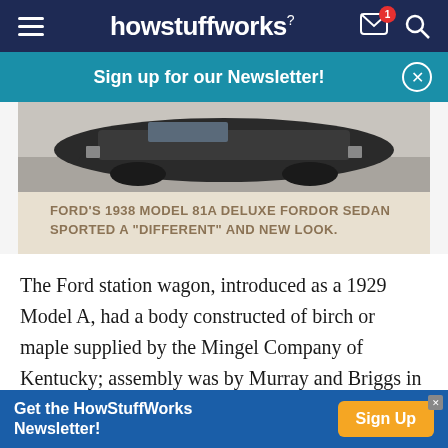howstuffworks
Sign up for our Newsletter!
[Figure (photo): Black and white photo of a 1938 Ford Model 81A Deluxe Fordor Sedan, viewed from above/front angle]
FORD'S 1938 MODEL 81A DELUXE FORDOR SEDAN SPORTED A "DIFFERENT" AND NEW LOOK.
The Ford station wagon, introduced as a 1929 Model A, had a body constructed of birch or maple supplied by the Mingel Company of Kentucky; assembly was by Murray and Briggs in Detroit. Starting in 1935, Ford built these bodies itself in a plant at Iron
Get the HowStuffWorks Newsletter!